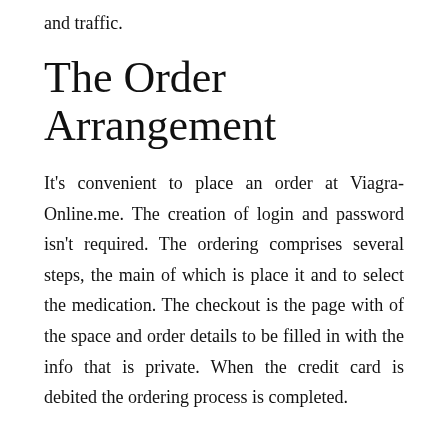and traffic.
The Order Arrangement
It's convenient to place an order at Viagra-Online.me. The creation of login and password isn't required. The ordering comprises several steps, the main of which is place it and to select the medication. The checkout is the page with of the space and order details to be filled in with the info that is private. When the credit card is debited the ordering process is completed.
The Security Rating of Viagra Online Me
ScamAdviser has no doubts about Viagra-Online.me